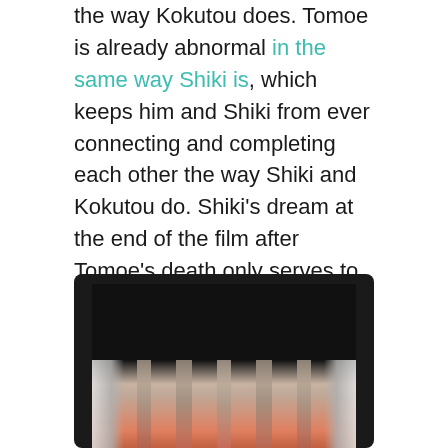the way Kokutou does. Tomoe is already abnormal in the same way Shiki is, which keeps him and Shiki from ever connecting and completing each other the way Shiki and Kokutou do. Shiki's dream at the end of the film after Tomoe's death only serves to drive this home. The two of them are sitting in mirror images of the same restaurant, and slowly get up and walk away from each other. They might be reflections of each other, but reflections can never truly touch. In spite of, or rather because of, their similarities, Shiki and Tomoe can mirror each other, but never connect. Completeness only comes from two opposites, not two reflections.
[Figure (photo): A screenshot shown inside a dark/black tablet-like frame, displaying what appears to be an anime scene with a character's hands or face, with grey and reddish-brown tones visible. The top portion of the image is obscured by a dark bar.]